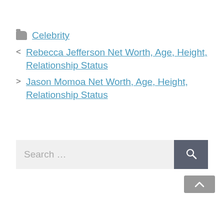Celebrity
< Rebecca Jefferson Net Worth, Age, Height, Relationship Status
> Jason Momoa Net Worth, Age, Height, Relationship Status
Search ...